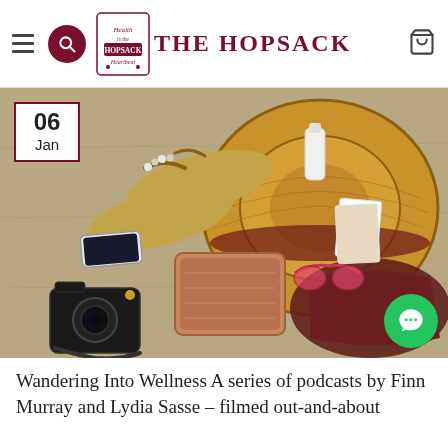THE HOPSACK
[Figure (photo): Flat lay of travel items on a wooden surface: sandals, a straw hat, a leather bag, a tablet, a smartphone, a camera, sunglasses, a small bottle, and photo cards. A date badge showing '06 Jan' is overlaid in the top-left corner.]
Wandering Into Wellness A series of podcasts by Finn Murray and Lydia Sasse – filmed out-and-about